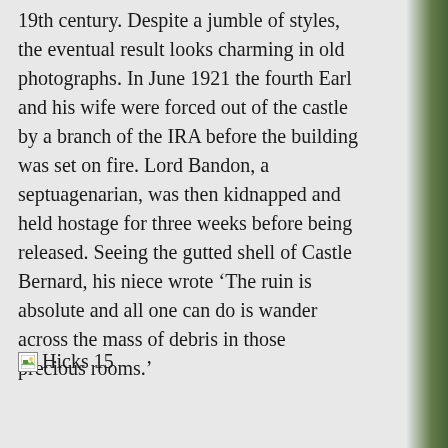19th century. Despite a jumble of styles, the eventual result looks charming in old photographs. In June 1921 the fourth Earl and his wife were forced out of the castle by a branch of the IRA before the building was set on fire. Lord Bandon, a septuagenarian, was then kidnapped and held hostage for three weeks before being released. Seeing the gutted shell of Castle Bernard, his niece wrote ‘The ruin is absolute and all one can do is wander across the mass of debris in those precious rooms.’
[Figure (other): Broken image placeholder labeled 'Hicks 15']